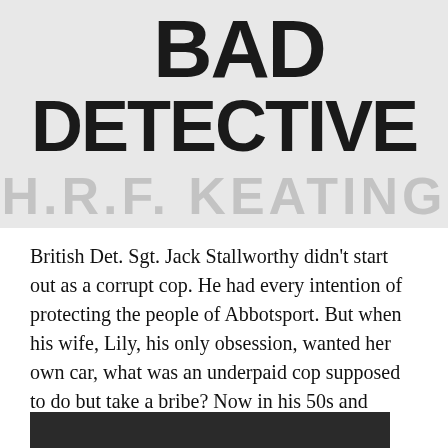[Figure (illustration): Book cover image showing 'BAD DETECTIVE' in large bold black text, with 'H.R.F. KEATING' in large watermark-style grey text below on a light grey background.]
British Det. Sgt. Jack Stallworthy didn't start out as a corrupt cop. He had every intention of protecting the people of Abbotsport. But when his wife, Lily, his only obsession, wanted her own car, what was an underpaid cop supposed to do but take a bribe? Now in his 50s and looking at retirement, Jack realize[d...] slight[ly...]